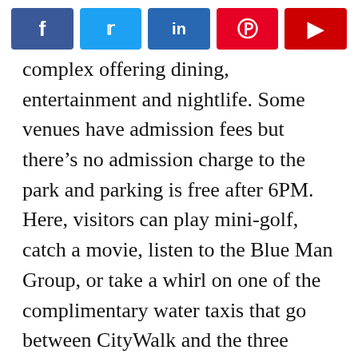[Figure (other): Social sharing buttons: Facebook (blue), Twitter (light blue), LinkedIn (dark blue), Pinterest (red), Flipboard (dark red)]
complex offering dining, entertainment and nightlife. Some venues have admission fees but there’s no admission charge to the park and parking is free after 6PM. Here, visitors can play mini-golf, catch a movie, listen to the Blue Man Group, or take a whirl on one of the complimentary water taxis that go between CityWalk and the three onsite hotels on the Universal grounds. SeaWorld Orlando and its sister property, Discovery Cove, are good choices for those interested in marine